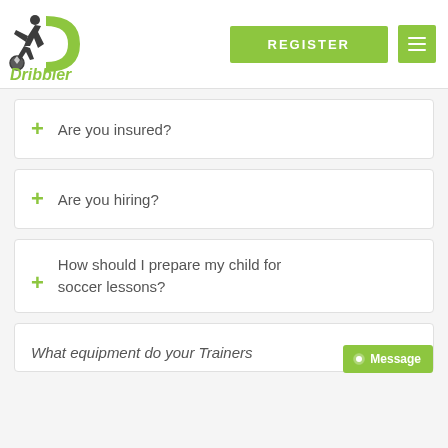[Figure (logo): Dribbler soccer logo with player silhouette kicking a ball and green D shape, with italic text 'Dribbler' in green below]
REGISTER
Are you insured?
Are you hiring?
How should I prepare my child for soccer lessons?
What equipment do your Trainers
Message